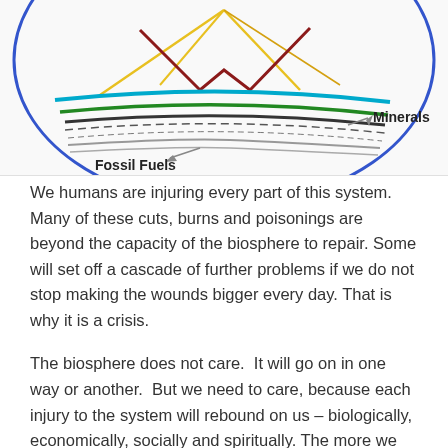[Figure (schematic): Partial view of a biosphere system diagram showing layered colored curves inside a large blue ellipse. Labels point to 'Fossil Fuels' (bottom left) and 'Minerals' (right side). Various colored bands/lines are visible including yellow, teal/cyan, green, dark/black, red, and gray curves.]
We humans are injuring every part of this system. Many of these cuts, burns and poisonings are beyond the capacity of the biosphere to repair. Some will set off a cascade of further problems if we do not stop making the wounds bigger every day. That is why it is a crisis.
The biosphere does not care.  It will go on in one way or another.  But we need to care, because each injury to the system will rebound on us – biologically, economically, socially and spiritually. The more we wound the system, the more we will be hurt in return.